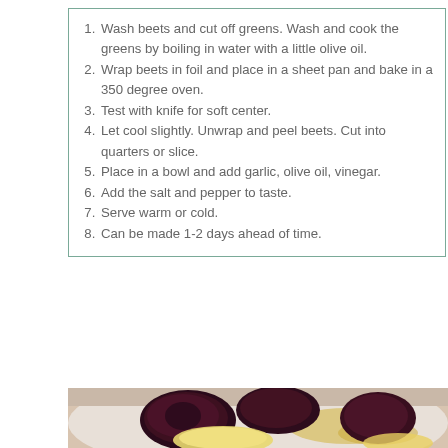1. Wash beets and cut off greens. Wash and cook the greens by boiling in water with a little olive oil.
2. Wrap beets in foil and place in a sheet pan and bake in a 350 degree oven.
3. Test with knife for soft center.
4. Let cool slightly. Unwrap and peel beets. Cut into quarters or slice.
5. Place in a bowl and add garlic, olive oil, vinegar.
6. Add the salt and pepper to taste.
7. Serve warm or cold.
8. Can be made 1-2 days ahead of time.
[Figure (photo): Photo of cooked beet quarters on a white plate with olive oil dressing, showing dark purple-red beet pieces alongside pale boiled potato slices.]